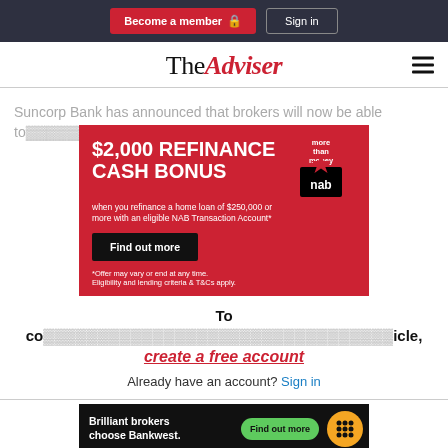Become a member | Sign in
TheAdviser
Suncorp Bank has announced that brokers will now be able to... rs across
[Figure (advertisement): NAB bank advertisement: $2,000 REFINANCE CASH BONUS when you refinance a home loan of $250,000 or more with an eligible NAB Transaction Account*. Find out more button. *Offer may vary or end at any time. Eligibility and lending criteria & T&Cs apply.]
To co... icle,
create a free account
Already have an account? Sign in
[Figure (advertisement): Bankwest advertisement: Brilliant brokers choose Bankwest. Find out more button with Bankwest logo.]